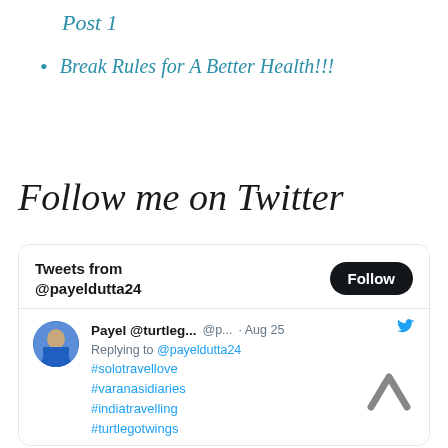Post 1
Break Rules for A Better Health!!!
Follow me on Twitter
[Figure (screenshot): Twitter widget showing tweets from @payeldutta24 with a Follow button, and a tweet by Payel @turtleg... replying to @payeldutta24 with hashtags #solotravellove #varanasidiaries #indiatravelling #turtlegotwings, dated Aug 25]